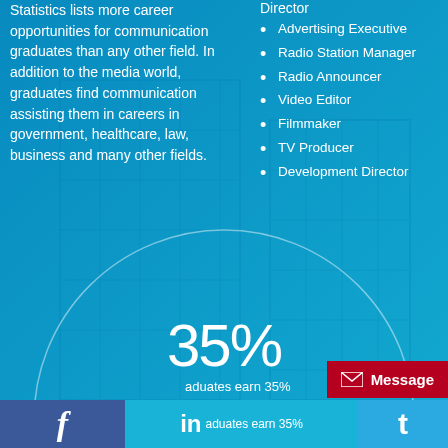Statistics lists more career opportunities for communication graduates than any other field. In addition to the media world, graduates find communication assisting them in careers in government, healthcare, law, business and many other fields.
Director
Advertising Executive
Radio Station Manager
Radio Announcer
Video Editor
Filmmaker
TV Producer
Development Director
[Figure (other): Large circular arc graphic in white outline on blue background]
35%
aduates earn 35%
[Figure (infographic): Bottom bar with Facebook (f), LinkedIn (in), and Twitter (t) social media icons]
Message